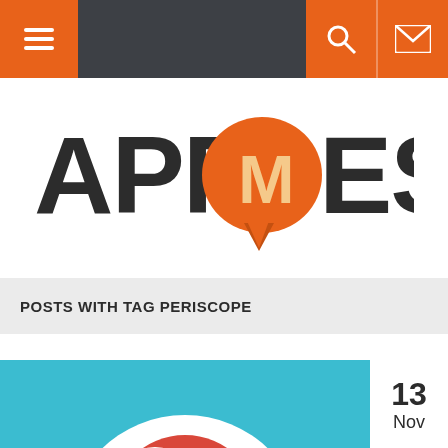[Figure (screenshot): AppMess website navigation bar with hamburger menu on orange background left, dark gray center, search and mail icons on orange right]
[Figure (logo): AppMess logo: dark gray bold text APP and ESS with orange speech bubble containing white M letter]
POSTS WITH TAG PERISCOPE
[Figure (photo): Periscope app logo on teal/blue background: white circle with red teardrop/flame shape inside, with date badge showing 13 Nov]